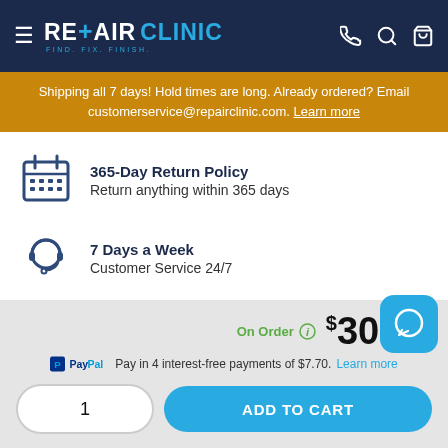REPAIR CLINIC — FIND. FIX. FINISH.
Shipping all 7 days! Hold times are long. Already ordered? Email customerservice@repairclinic.com. Learn more
365-Day Return Policy
Return anything within 365 days
7 Days a Week
Customer Service 24/7
On Order  $30.80
Pay in 4 interest-free payments of $7.70. Learn more
1  ADD TO CART